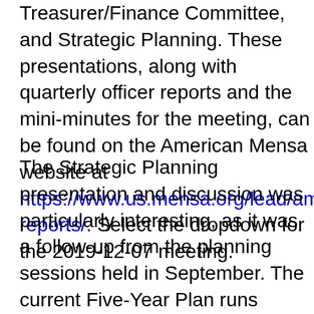Treasurer/Finance Committee, and Strategic Planning. These presentations, along with quarterly officer reports and the mini-minutes for the meeting, can be found on the American Mensa website at https://www.us.mensa.org/lead/amc/meeting-reports/. Select the dropdown for the 2019-12-07 meeting.
The Strategic Planning presentation and discussion was particularly interesting, as it was a follow-up from the planning sessions held in September. The current Five-Year Plan runs through 2020, and the AMC is working to establish a new strategic plan for 2021-2025. The current plan focuses on five core values: Membership, Governance, Leadership Development, Public Awareness, and Finance. The proposed core values include Intelligence benefitting humanity, Valuing ideas and individualism, Intellectual integrity, and